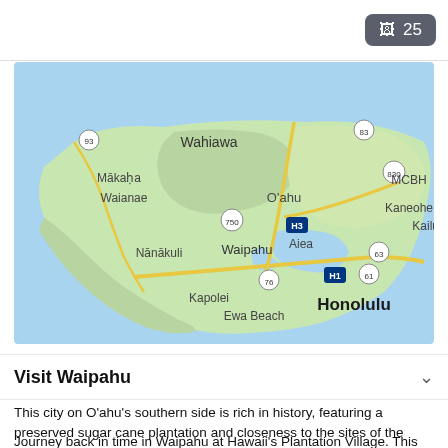[Figure (map): Google map showing Oahu island, Hawaii with labeled cities including Wahiawa, Waipahu, Honolulu, Aiea, Kapolei, Ewa Beach, Kailua, Kaneohe, MCBH, Makaha, Waianae, Nanakuli, and highway markers 93, 83, 750, 830, H3, H1, 76, 63, 61]
Visit Waipahu
This city on O‘ahu’s southern side is rich in history, featuring a preserved sugar cane plantation and closeness to the sites of the Pearl Harbor bombing.
Journey back in time in Waipahu at Hawaii’s Plantation Village. This